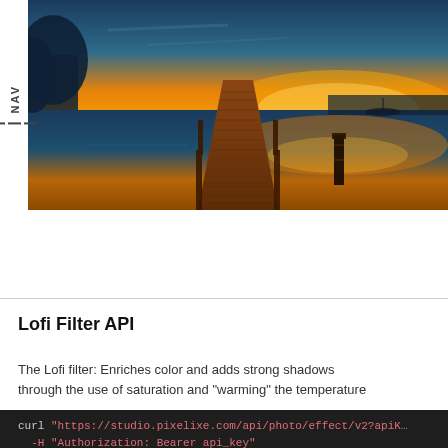[Figure (photo): A wooden dock/pier extending over a calm lake at sunset, with warm orange and golden sky reflected in the water, surrounded by silhouetted trees.]
Lofi Filter API
The Lofi filter: Enriches color and adds strong shadows through the use of saturation and "warming" the temperature
curl "https://studio.pixelixe.com/api/photo/effect/v2?apiK...
  -H "Authorization: Bearer api_key"